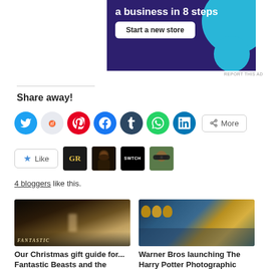[Figure (screenshot): Purple advertisement banner with 'a business in 8 steps' title and 'Start a new store' button, with a cyan circle decoration]
REPORT THIS AD
Share away!
[Figure (infographic): Row of social sharing icon circles: Twitter (blue), Reddit (light blue), Pinterest (red), Facebook (blue), Tumblr (dark blue), WhatsApp (green), LinkedIn (blue), and a More button]
[Figure (infographic): Like button with star icon, followed by 4 blogger avatar thumbnails: GR logo, beard photo, SWTCH logo, sunglasses photo]
4 bloggers like this.
[Figure (photo): Movie poster style image for Fantastic Beasts with foggy dark atmosphere and 'FANTASTIC' text at bottom]
Our Christmas gift guide for... Fantastic Beasts and the Wizarding World!
Dec 6, 2016
[Figure (photo): Interior photo showing Harry Potter themed exhibition space with golden barrels and blue ceiling]
Warner Bros launching The Harry Potter Photographic Exhibition in London this July...